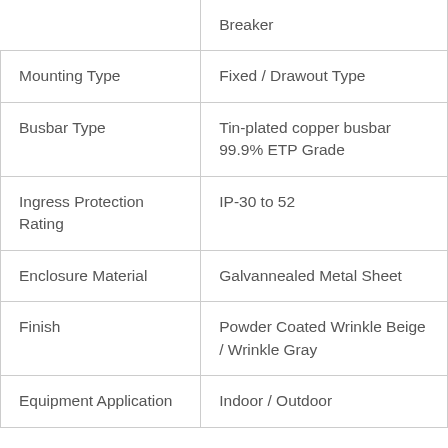|  | Breaker |
| Mounting Type | Fixed / Drawout Type |
| Busbar Type | Tin-plated copper busbar 99.9% ETP Grade |
| Ingress Protection Rating | IP-30 to 52 |
| Enclosure Material | Galvannealed Metal Sheet |
| Finish | Powder Coated Wrinkle Beige / Wrinkle Gray |
| Equipment Application | Indoor / Outdoor |